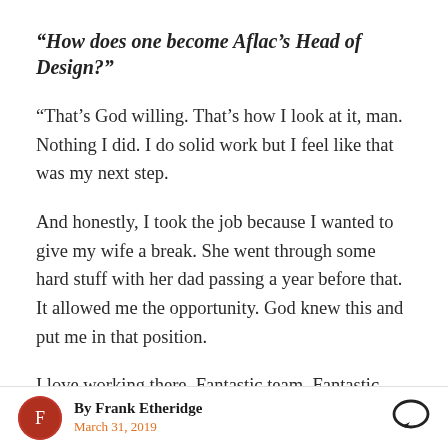“How does one become Aflac’s Head of Design?”
“That’s God willing. That’s how I look at it, man. Nothing I did. I do solid work but I feel like that was my next step.
And honestly, I took the job because I wanted to give my wife a break. She went through some hard stuff with her dad passing a year before that. It allowed me the opportunity. God knew this and put me in that position.
I love working there. Fantastic team. Fantastic
By Frank Etheridge
March 31, 2019